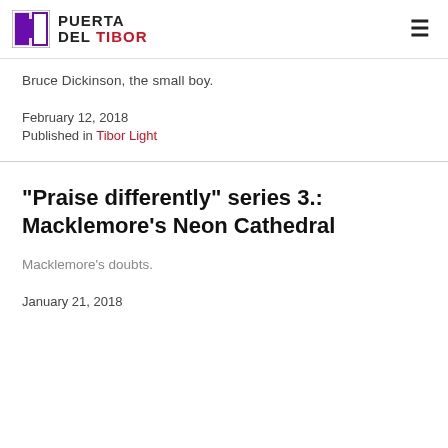PUERTA DEL TIBOR
Bruce Dickinson, the small boy.
February 12, 2018
Published in Tibor Light
"Praise differently" series 3.: Macklemore's Neon Cathedral
Macklemore's doubts.
January 21, 2018